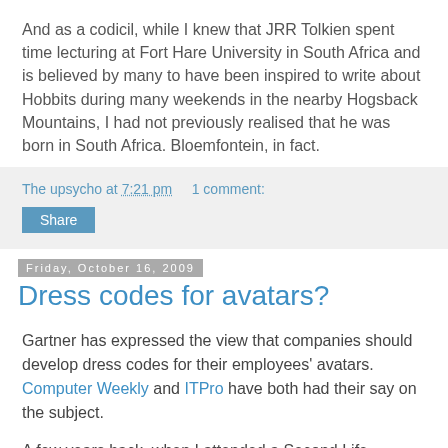And as a codicil, while I knew that JRR Tolkien spent time lecturing at Fort Hare University in South Africa and is believed by many to have been inspired to write about Hobbits during many weekends in the nearby Hogsback Mountains, I had not previously realised that he was born in South Africa. Bloemfontein, in fact.
The upsycho at 7:21 pm   1 comment:
Share
Friday, October 16, 2009
Dress codes for avatars?
Gartner has expressed the view that companies should develop dress codes for their employees' avatars. Computer Weekly and ITPro have both had their say on the subject.
A few years back, when I attended a Second Life workshop, the woman who was facilitating it boasted an avatar with the